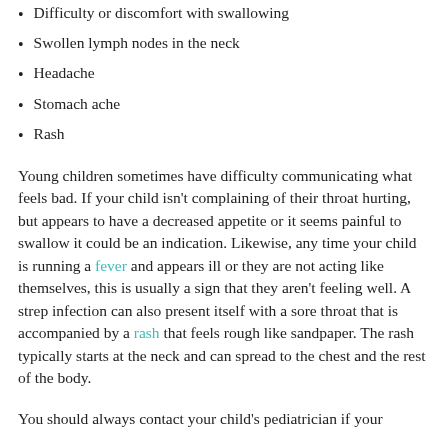Difficulty or discomfort with swallowing
Swollen lymph nodes in the neck
Headache
Stomach ache
Rash
Young children sometimes have difficulty communicating what feels bad. If your child isn't complaining of their throat hurting, but appears to have a decreased appetite or it seems painful to swallow it could be an indication. Likewise, any time your child is running a fever and appears ill or they are not acting like themselves, this is usually a sign that they aren't feeling well. A strep infection can also present itself with a sore throat that is accompanied by a rash that feels rough like sandpaper. The rash typically starts at the neck and can spread to the chest and the rest of the body.
You should always contact your child's pediatrician if your